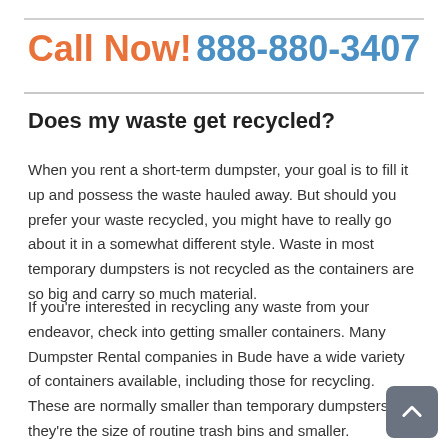Call Now! 888-880-3407
Does my waste get recycled?
When you rent a short-term dumpster, your goal is to fill it up and possess the waste hauled away. But should you prefer your waste recycled, you might have to really go about it in a somewhat different style. Waste in most temporary dumpsters is not recycled as the containers are so big and carry so much material.
If you're interested in recycling any waste from your endeavor, check into getting smaller containers. Many Dumpster Rental companies in Bude have a wide variety of containers available, including those for recycling. These are normally smaller than temporary dumpsters; they're the size of routine trash bins and smaller.